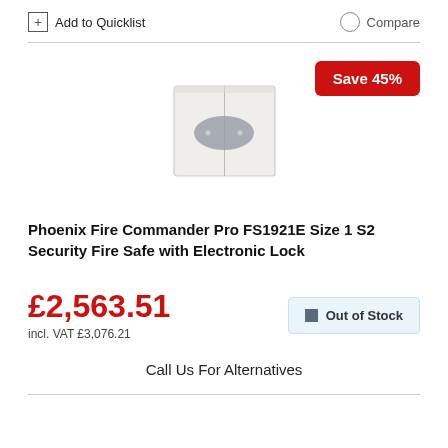+ Add to Quicklist
Compare
[Figure (photo): Phoenix Fire Commander Pro FS1921E fire safe product image, white cabinet with grey oval panel and two handles]
Save 45%
Phoenix Fire Commander Pro FS1921E Size 1 S2 Security Fire Safe with Electronic Lock
£2,563.51
incl. VAT £3,076.21
Out of Stock
Call Us For Alternatives